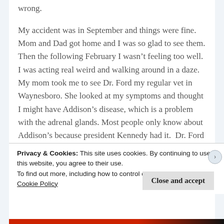wrong.
My accident was in September and things were fine. Mom and Dad got home and I was so glad to see them. Then the following February I wasn't feeling too well. I was acting real weird and walking around in a daze. My mom took me to see Dr. Ford my regular vet in Waynesboro. She looked at my symptoms and thought I might have Addison's disease, which is a problem with the adrenal glands. Most people only know about Addison's because president Kennedy had it.  Dr. Ford had to give me some medicine to get me better and ordered the diagnostic test for Addison's which most vet
Privacy & Cookies: This site uses cookies. By continuing to use this website, you agree to their use.
To find out more, including how to control cookies, see here: Cookie Policy